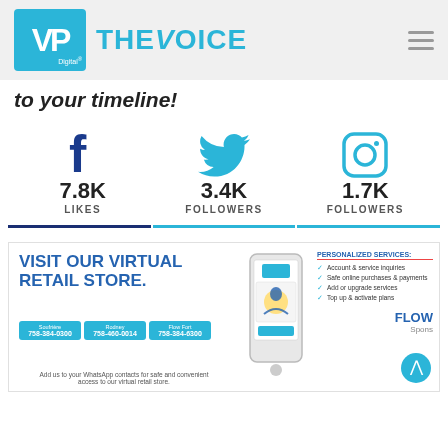VP Digital | THE VOICE
to your timeline!
[Figure (infographic): Social media stats: Facebook 7.8K Likes, Twitter 3.4K Followers, Instagram 1.7K Followers]
[Figure (infographic): Flow Virtual Retail Store advertisement banner with phone numbers and personalized services list]